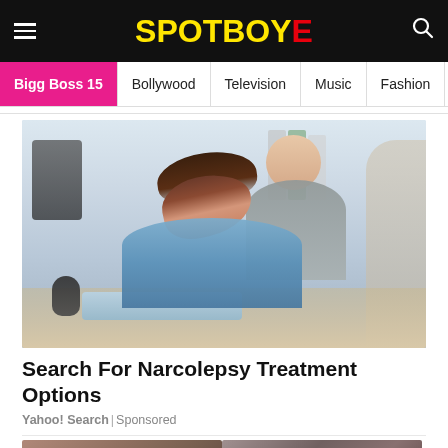SPOTBOYE
Bigg Boss 15 | Bollywood | Television | Music | Fashion
[Figure (photo): A woman sleeping at her office desk with her head resting on her arms, viewed from the side. A man in a gray hoodie is visible in the background. Office supplies and binders visible in the background.]
Search For Narcolepsy Treatment Options
Yahoo! Search | Sponsored
[Figure (photo): Bottom thumbnail images partially visible at the bottom of the page]